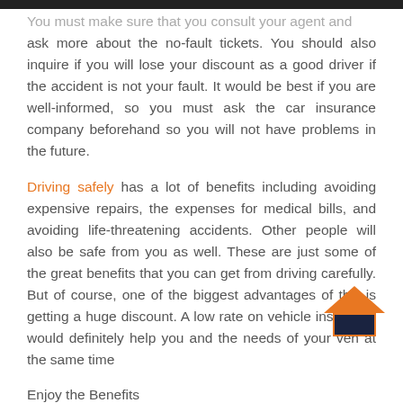You must make sure that you consult your agent and ask more about the no-fault tickets. You should also inquire if you will lose your discount as a good driver if the accident is not your fault. It would be best if you are well-informed, so you must ask the car insurance company beforehand so you will not have problems in the future.
Driving safely has a lot of benefits including avoiding expensive repairs, the expenses for medical bills, and avoiding life-threatening accidents. Other people will also be safe from you as well. These are just some of the great benefits that you can get from driving carefully. But of course, one of the biggest advantages of this is getting a huge discount. A low rate on vehicle insurance would definitely help you and the needs of your veh at the same time
Enjoy the Benefits
[Figure (logo): Orange and dark navy house/roof logo icon in bottom right area]